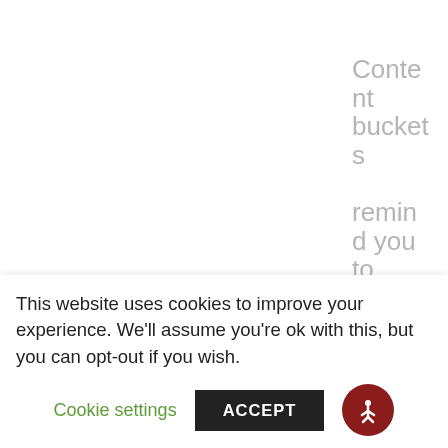Content buckets remind you to publish a variety of content types (images, videos, links, text-only) on a variety of topics or themes.
1. Evoke Emotion right in the Introduction
These posts help our fans get to know the person behind the brand. They can be fun, goofy, random,
This website uses cookies to improve your experience. We'll assume you're ok with this, but you can opt-out if you wish.
Cookie settings
ACCEPT